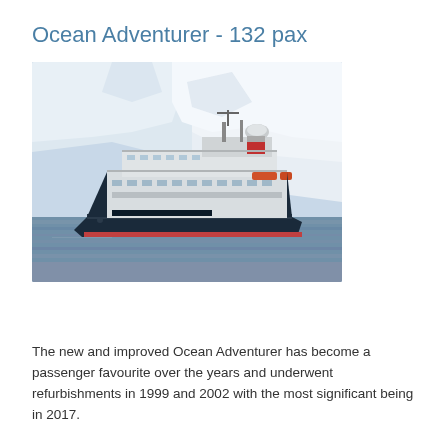Ocean Adventurer - 132 pax
[Figure (photo): The Ocean Adventurer cruise ship sailing in front of large glaciers and icy cliffs, dark blue hull, multiple decks, calm water in foreground]
The new and improved Ocean Adventurer has become a passenger favourite over the years and underwent refurbishments in 1999 and 2002 with the most significant being in 2017.